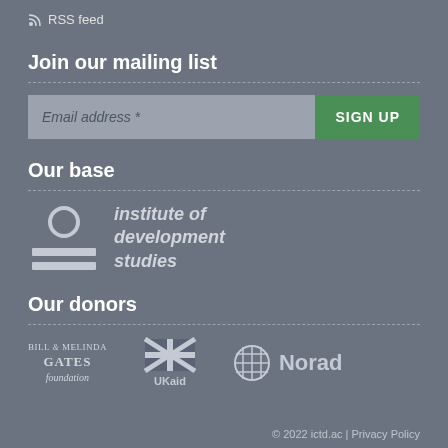RSS feed
Join our mailing list
[Figure (other): Email address input field with SIGN UP button]
Our base
[Figure (logo): Institute of Development Studies logo with circular icon and two horizontal bars]
Our donors
[Figure (logo): Bill & Melinda Gates Foundation logo, UKaid logo, Norad logo]
© 2022 ictd.ac | Privacy Policy